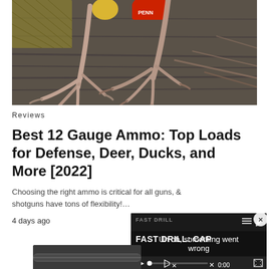[Figure (photo): Photo of turkey or bird feet/claws on a wooden surface, with hunting gear items visible in the background including what appears to be a red shell/cap and mesh netting.]
Reviews
Best 12 Gauge Ammo: Top Loads for Defense, Deer, Ducks, and More [2022]
Choosing the right ammo is critical for all guns, & shotguns have tons of flexibility!…
4 days ago
[Figure (screenshot): Video player overlay showing 'FAST DRILL: CAP' text at top and error message 'Uh oh, something went wrong' with playback controls at bottom showing 0:00 timestamp. Has a close (x) button in top right.]
[Figure (photo): Partial view of what appears to be a gun barrel, visible at bottom of page.]